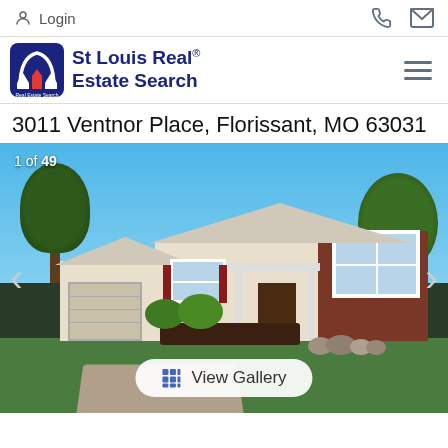Login
[Figure (logo): St Louis Real Estate Search logo with arch icon]
3011 Ventnor Place, Florissant, MO 63031
[Figure (photo): Exterior photo of a ranch-style house with brick facade, white siding, covered entry porch, attached garage, and landscaped front yard under blue sky. Shows '1 of 49' counter and View Gallery button.]